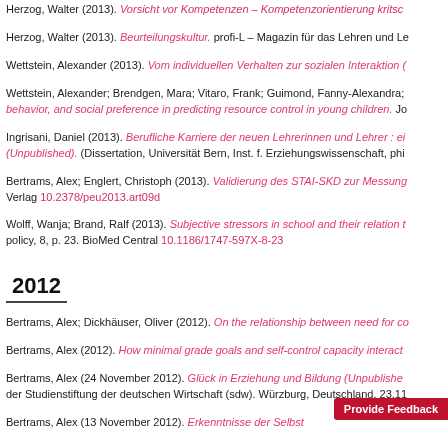Herzog, Walter (2013). Vorsicht vor Kompetenzen - Kompetenzorientierung kritisch betrachtet. [truncated]
Herzog, Walter (2013). Beurteilungskultur. profi-L – Magazin für das Lehren und Le...
Wettstein, Alexander (2013). Vom individuellen Verhalten zur sozialen Interaktion (...
Wettstein, Alexander; Brendgen, Mara; Vitaro, Frank; Guimond, Fanny-Alexandra; ... behavior, and social preference in predicting resource control in young children. Jo...
Ingrisani, Daniel (2013). Berufliche Karriere der neuen Lehrerinnen und Lehrer : ei... (Unpublished). (Dissertation, Universität Bern, Inst. f. Erziehungswissenschaft, phi...
Bertrams, Alex; Englert, Christoph (2013). Validierung des STAI-SKD zur Messung... Verlag 10.2378/peu2013.art09d
Wolff, Wanja; Brand, Ralf (2013). Subjective stressors in school and their relation t... policy, 8, p. 23. BioMed Central 10.1186/1747-597X-8-23
2012
Bertrams, Alex; Dickhäuser, Oliver (2012). On the relationship between need for co...
Bertrams, Alex (2012). How minimal grade goals and self-control capacity interact...
Bertrams, Alex (24 November 2012). Glück in Erziehung und Bildung (Unpublished)... der Studienstiftung der deutschen Wirtschaft (sdw). Würzburg, Deutschland. 23.11...
Bertrams, Alex (13 November 2012). Erkenntnisse der Selbst...